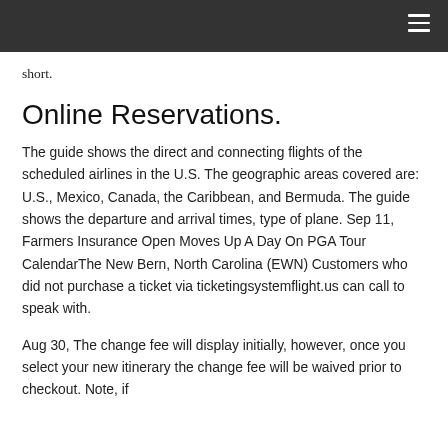short.
Online Reservations.
The guide shows the direct and connecting flights of the scheduled airlines in the U.S. The geographic areas covered are: U.S., Mexico, Canada, the Caribbean, and Bermuda. The guide shows the departure and arrival times, type of plane. Sep 11, Farmers Insurance Open Moves Up A Day On PGA Tour CalendarThe New Bern, North Carolina (EWN) Customers who did not purchase a ticket via ticketingsystemflight.us can call to speak with.
Aug 30, The change fee will display initially, however, once you select your new itinerary the change fee will be waived prior to checkout. Note, if